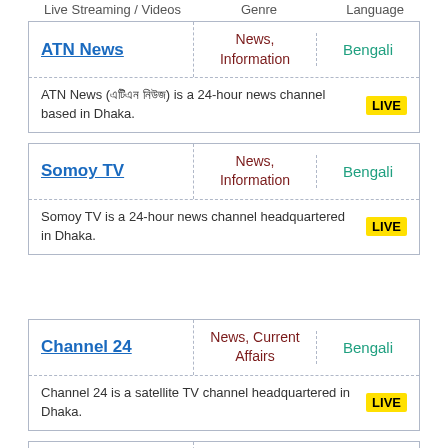Live Streaming / Videos   Genre   Language
| Live Streaming / Videos | Genre | Language |
| --- | --- | --- |
| ATN News | News, Information | Bengali |
| ATN News (এটিএন নিউজ) is a 24-hour news channel based in Dhaka. | LIVE |  |
| Somoy TV | News, Information | Bengali |
| Somoy TV is a 24-hour news channel headquartered in Dhaka. | LIVE |  |
| Channel 24 | News, Current Affairs | Bengali |
| Channel 24 is a satellite TV channel headquartered in Dhaka. | LIVE |  |
| News24 | News, Information | Bengali |